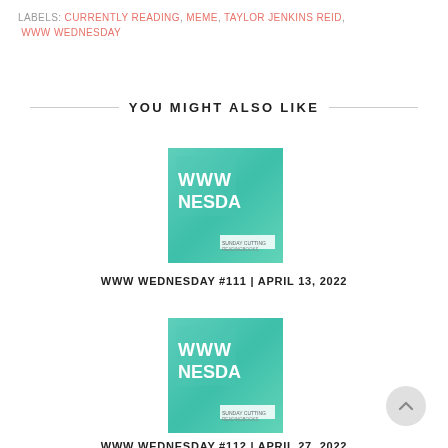LABELS: CURRENTLY READING, MEME, TAYLOR JENKINS REID, WWW WEDNESDAY
YOU MIGHT ALSO LIKE
[Figure (illustration): Teal/green watercolor-style thumbnail with white block text reading WWW NESDAY (WWW WEDNESDAY)]
WWW WEDNESDAY #111 | APRIL 13, 2022
[Figure (illustration): Teal/green watercolor-style thumbnail with white block text reading WWW NESDAY (WWW WEDNESDAY)]
WWW WEDNESDAY #112 | APRIL 27, 2022